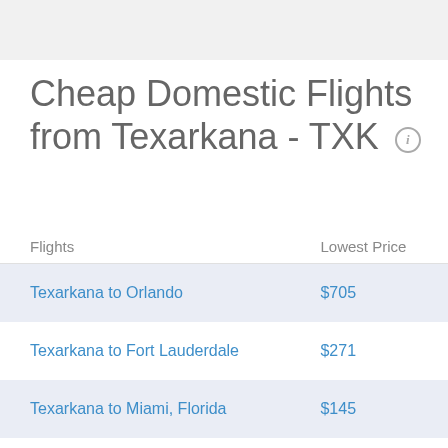Cheap Domestic Flights from Texarkana - TXK
| Flights | Lowest Price |
| --- | --- |
| Texarkana to Orlando | $705 |
| Texarkana to Fort Lauderdale | $271 |
| Texarkana to Miami, Florida | $145 |